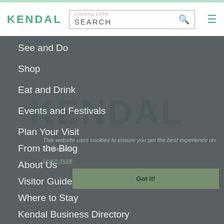KENDAL | SEARCH
See and Do
Shop
Eat and Drink
Events and Festivals
Plan Your Visit
From the Blog
About Us
Visitor Guides
Where to Stay
Kendal Business Directory
This website uses cookies to ensure you get the best experience on our website.
Learn more
Got it!